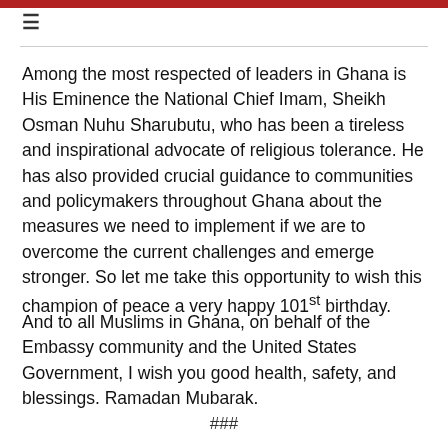≡
Among the most respected of leaders in Ghana is His Eminence the National Chief Imam, Sheikh Osman Nuhu Sharubutu, who has been a tireless and inspirational advocate of religious tolerance. He has also provided crucial guidance to communities and policymakers throughout Ghana about the measures we need to implement if we are to overcome the current challenges and emerge stronger. So let me take this opportunity to wish this champion of peace a very happy 101st birthday.
And to all Muslims in Ghana, on behalf of the Embassy community and the United States Government, I wish you good health, safety, and blessings. Ramadan Mubarak.
###